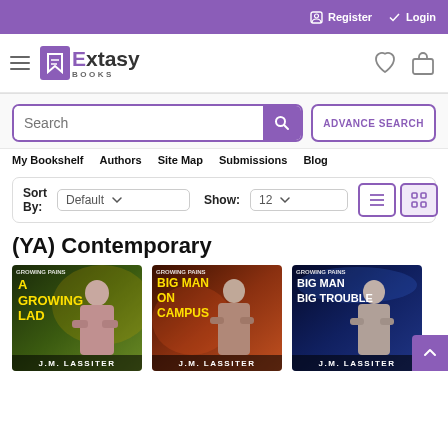Register  Login
[Figure (logo): Extasy Books logo with hamburger menu, heart icon, and bag icon]
[Figure (screenshot): Search bar with magnifying glass button and ADVANCE SEARCH button]
My Bookshelf  Authors  Site Map  Submissions  Blog
Sort By: Default   Show: 12
(YA) Contemporary
[Figure (photo): Book cover: A Growing Lad by J.M. Lassiter, Growing Pains series]
[Figure (photo): Book cover: Big Man on Campus by J.M. Lassiter, Growing Pains series]
[Figure (photo): Book cover: Big Man Big Trouble by J.M. Lassiter, Growing Pains series]